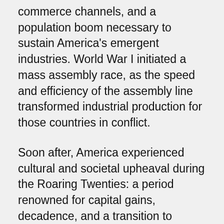commerce channels, and a population boom necessary to sustain America's emergent industries. World War I initiated a mass assembly race, as the speed and efficiency of the assembly line transformed industrial production for those countries in conflict.
Soon after, America experienced cultural and societal upheaval during the Roaring Twenties: a period renowned for capital gains, decadence, and a transition to populous city living. World War II engendered a vast mobilization effort fueled by lucrative government contracts to increase industrial capacity.